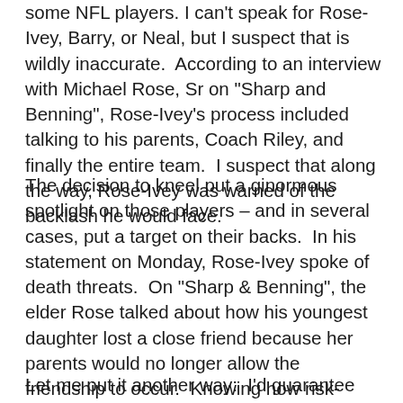some NFL players. I can't speak for Rose-Ivey, Barry, or Neal, but I suspect that is wildly inaccurate. According to an interview with Michael Rose, Sr on "Sharp and Benning", Rose-Ivey's process included talking to his parents, Coach Riley, and finally the entire team. I suspect that along the way, Rose-Ivey was warned of the backlash he would face.
The decision to kneel put a ginormous spotlight on those players – and in several cases, put a target on their backs. In his statement on Monday, Rose-Ivey spoke of death threats. On "Sharp & Benning", the elder Rose talked about how his youngest daughter lost a close friend because her parents would no longer allow the friendship to occur. Knowing how risk-adverse NFL teams are, do you think kneeling helps or harms the draft prospects of these three Huskers?
Let me put it another way: I'd guarantee there are more